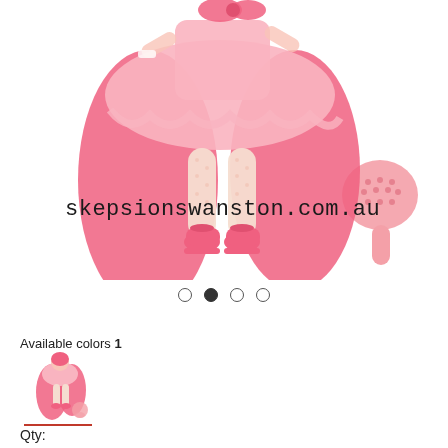[Figure (photo): A pink doll wearing a pink tutu dress with long curly pink hair and pink high-heeled shoes, shown from shoulders down. A pink hairbrush accessory is shown to the right. Watermark text 'skepsionswanston.com.au' overlaid on the image.]
skepsionswanston.com.au
[Figure (other): Four navigation dots, second dot filled/active, indicating image carousel position 2 of 4]
Available colors 1
[Figure (photo): Small thumbnail image of the pink doll with pink hair and accessories, with a red underline indicating selected color swatch]
Qty: